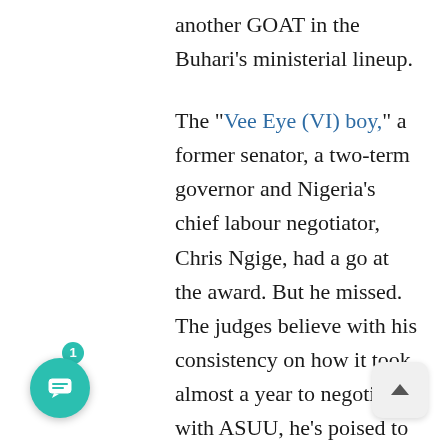another GOAT in the Buhari's ministerial lineup.
The "Vee Eye (VI) boy," a former senator, a two-term governor and Nigeria's chief labour negotiator, Chris Ngige, had a go at the award. But he missed. The judges believe with his consistency on how it took almost a year to negotiate with ASUU, he's poised to win the trophy soon.
Enter Godswill Akpabio, who showed rare patriotism by jettisoning his senatorial ambition to serve Nigeria as its Niger Delta Minister. A good servant he is, one of the Judges wrote on her scoresheet.
He nicked the award for his infamous session at the National Assembly that gave rise to